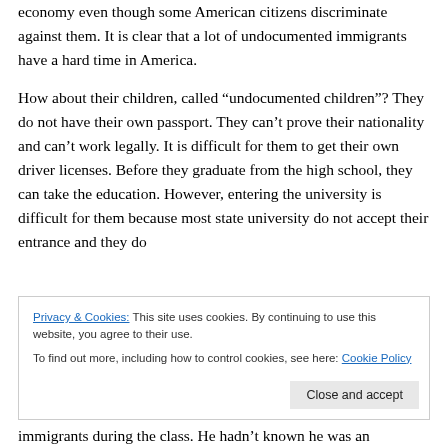economy even though some American citizens discriminate against them. It is clear that a lot of undocumented immigrants have a hard time in America.
How about their children, called “undocumented children”? They do not have their own passport. They can’t prove their nationality and can’t work legally. It is difficult for them to get their own driver licenses. Before they graduate from the high school, they can take the education. However, entering the university is difficult for them because most state university do not accept their entrance and they do
Privacy & Cookies: This site uses cookies. By continuing to use this website, you agree to their use.
To find out more, including how to control cookies, see here: Cookie Policy
immigrants during the class. He hadn’t known he was an